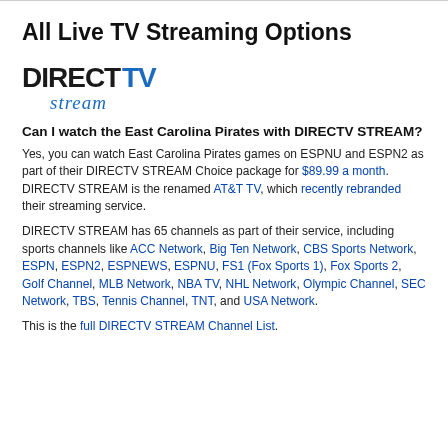All Live TV Streaming Options
[Figure (logo): DIRECTV stream logo — DIRECTV in bold black/blue letters with 'stream' in blue cursive below]
Can I watch the East Carolina Pirates with DIRECTV STREAM?
Yes, you can watch East Carolina Pirates games on ESPNU and ESPN2 as part of their DIRECTV STREAM Choice package for $89.99 a month. DIRECTV STREAM is the renamed AT&T TV, which recently rebranded their streaming service.
DIRECTV STREAM has 65 channels as part of their service, including sports channels like ACC Network, Big Ten Network, CBS Sports Network, ESPN, ESPN2, ESPNEWS, ESPNU, FS1 (Fox Sports 1), Fox Sports 2, Golf Channel, MLB Network, NBA TV, NHL Network, Olympic Channel, SEC Network, TBS, Tennis Channel, TNT, and USA Network.
This is the full DIRECTV STREAM Channel List.